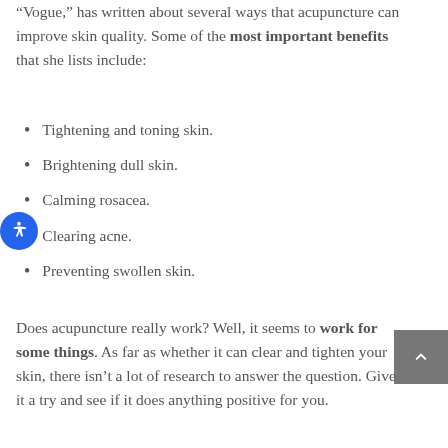“Vogue,” has written about several ways that acupuncture can improve skin quality. Some of the most important benefits that she lists include:
Tightening and toning skin.
Brightening dull skin.
Calming rosacea.
Clearing acne.
Preventing swollen skin.
Does acupuncture really work? Well, it seems to work for some things. As far as whether it can clear and tighten your skin, there isn’t a lot of research to answer the question. Give it a try and see if it does anything positive for you.